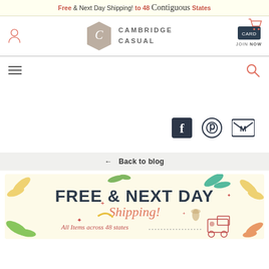Free & Next Day Shipping! to 48 Contiguous States
[Figure (logo): Cambridge Casual brand logo with hexagon shape containing letter C, and brand name CAMBRIDGE CASUAL]
[Figure (infographic): Join Now card with shopping cart icon in header navigation]
[Figure (infographic): Hamburger menu icon on left and search icon on right]
[Figure (infographic): Social icons: Facebook, Pinterest, Gmail/M icons]
← Back to blog
[Figure (infographic): Promotional banner: FREE & NEXT DAY Shipping! All Items across 48 states, with decorative leaves, stars, truck illustration]